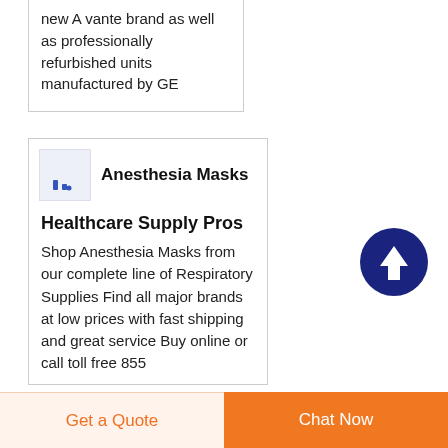new A vante brand as well as professionally refurbished units manufactured by GE
[Figure (logo): Small bar chart logo icon with blue bars on light purple/grey background]
Anesthesia Masks
Healthcare Supply Pros
Shop Anesthesia Masks from our complete line of Respiratory Supplies Find all major brands at low prices with fast shipping and great service Buy online or call toll free 855
[Figure (illustration): Dark navy blue circle with white upward arrow icon - scroll to top button]
Get a Quote
Chat Now